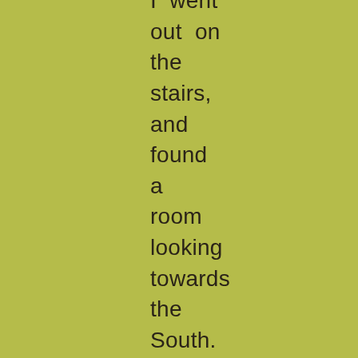I went out on the stairs, and found a room looking towards the South.

The view was magnificent, and